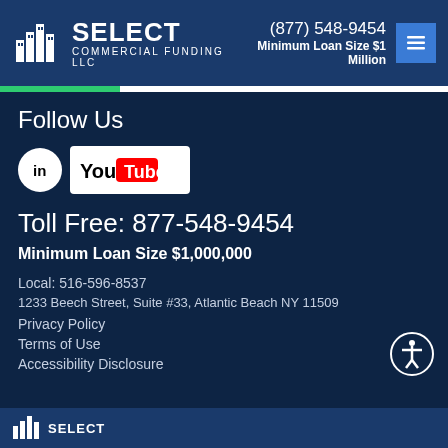Select Commercial Funding LLC — (877) 548-9454 — Minimum Loan Size $1 Million
Follow Us
[Figure (logo): LinkedIn circular icon and YouTube logo badge]
Toll Free: 877-548-9454
Minimum Loan Size $1,000,000
Local: 516-596-8537
1233 Beech Street, Suite #33, Atlantic Beach NY 11509
Privacy Policy
Terms of Use
Accessibility Disclosure
Select Commercial Funding LLC